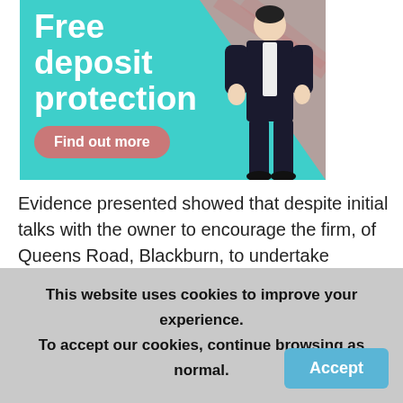[Figure (illustration): Advertisement banner with teal background showing 'Free deposit protection' in white bold text, a pink/salmon triangular background element, a 'Find out more' button in muted pink/rose, and an illustrated figure of a person in a dark suit on the right side.]
Evidence presented showed that despite initial talks with the owner to encourage the firm, of Queens Road, Blackburn, to undertake remedial work, it failed to result in action and the Council had served Prohibition Orders,
This website uses cookies to improve your experience. To accept our cookies, continue browsing as normal.